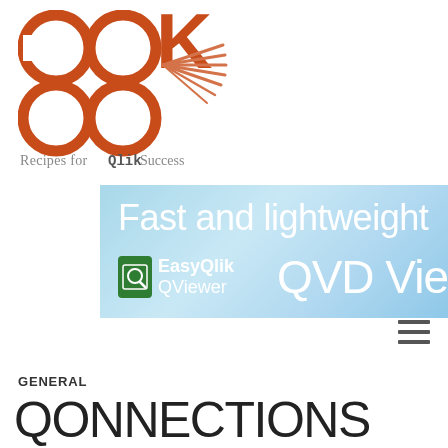[Figure (logo): COOKBOOK logo with orange circular letters C, O, O, K, B, O, O and a stylized open book with fanning pages in orange/coral, with tagline 'Recipes for Qlik Success' beneath]
[Figure (screenshot): Advertisement banner with light blue sky background showing 'Fast and lightweight' text, EasyQlik QViewer logo and 'QVD Vie' (QVD Viewer) partial text]
≡ (hamburger menu icon)
GENERAL
QONNECTIONS 2018